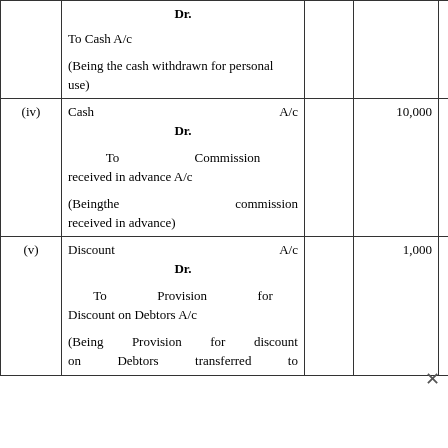|  | Particulars | L.F. | Dr. Amount | Cr. Amount |
| --- | --- | --- | --- | --- |
|  | Dr.

To Cash A/c

(Being the cash withdrawn for personal use) |  |  | 5,000 |
| (iv) | Cash A/c Dr.

To Commission received in advance A/c

(Being the commission received in advance) |  | 10,000 | 10,000 |
| (v) | Discount A/c Dr.

To Provision for Discount on Debtors A/c

(Being Provision for discount on Debtors transferred to |  | 1,000 | 1,000 |